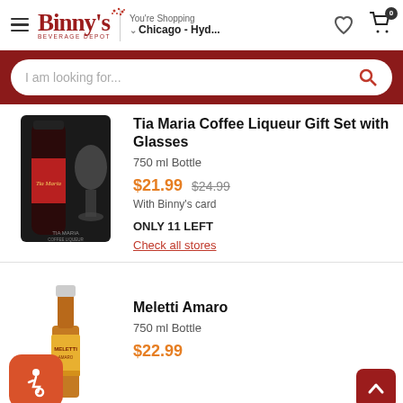Binny's Beverage Depot — You're Shopping Chicago - Hyd...
I am looking for...
[Figure (photo): Tia Maria Coffee Liqueur Gift Set with Glasses product photo showing box with bottle and glasses]
Tia Maria Coffee Liqueur Gift Set with Glasses
750 ml Bottle
$21.99  $24.99
With Binny's card
ONLY 11 LEFT
Check all stores
[Figure (photo): Meletti Amaro liqueur bottle photo, amber colored bottle]
Meletti Amaro
750 ml Bottle
$22.99